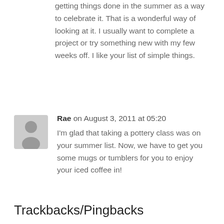getting things done in the summer as a way to celebrate it. That is a wonderful way of looking at it. I usually want to complete a project or try something new with my few weeks off. I like your list of simple things.
Rae on August 3, 2011 at 05:20
I'm glad that taking a pottery class was on your summer list. Now, we have to get you some mugs or tumblers for you to enjoy your iced coffee in!
Trackbacks/Pingbacks